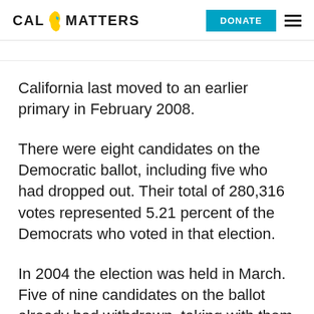CAL MATTERS | DONATE
California last moved to an earlier primary in February 2008.
There were eight candidates on the Democratic ballot, including five who had dropped out. Their total of 280,316 votes represented 5.21 percent of the Democrats who voted in that election.
In 2004 the election was held in March. Five of nine candidates on the ballot already had withdrawn, taking with them nearly 9 percent of the votes cast.